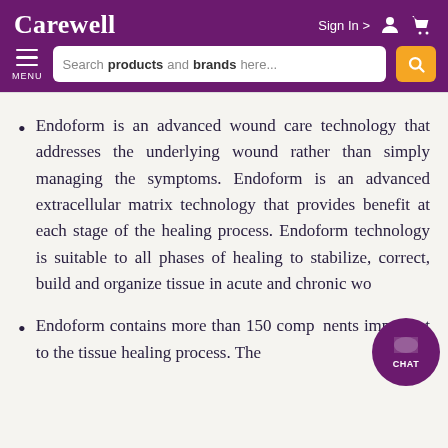Carewell — Sign In | Search products and brands here...
Endoform is an advanced wound care technology that addresses the underlying wound rather than simply managing the symptoms. Endoform is an advanced extracellular matrix technology that provides benefit at each stage of the healing process. Endoform technology is suitable to all phases of healing to stabilize, correct, build and organize tissue in acute and chronic wo...
Endoform contains more than 150 components important to the tissue healing process. The